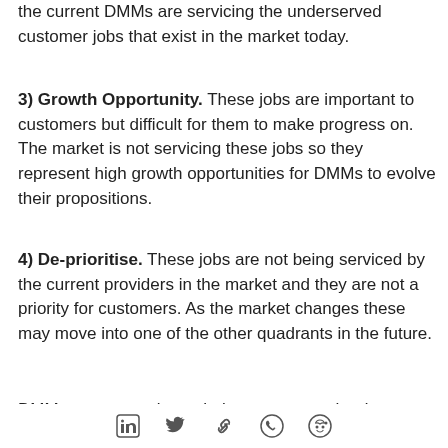the current DMMs are servicing the underserved customer jobs that exist in the market today.
3) Growth Opportunity. These jobs are important to customers but difficult for them to make progress on. The market is not servicing these jobs so they represent high growth opportunities for DMMs to evolve their propositions.
4) De-prioritise. These jobs are not being serviced by the current providers in the market and they are not a priority for customers. As the market changes these may move into one of the other quadrants in the future.
DMMs are competing to help customers who do
social share icons: LinkedIn, Twitter, link, WhatsApp, Reddit